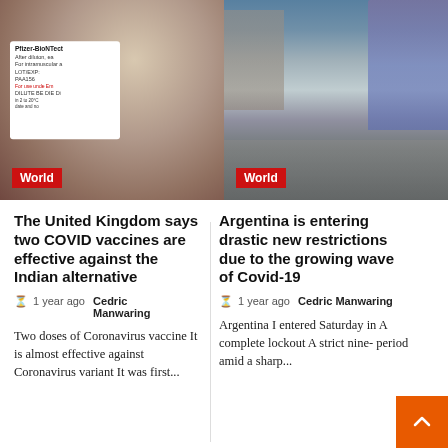[Figure (photo): Close-up photo of a hand holding a Pfizer-BioNTech COVID-19 vaccine vial with label visible]
World
[Figure (photo): Street scene with a person walking a dog across an intersection with few cars during COVID-19 restrictions in Argentina]
World
The United Kingdom says two COVID vaccines are effective against the Indian alternative
1 year ago  Cedric Manwaring
Two doses of Coronavirus vaccine It is almost effective against Coronavirus variant It was first...
Argentina is entering drastic new restrictions due to the growing wave of Covid-19
1 year ago  Cedric Manwaring
Argentina I entered Saturday in A complete lockout A strict nine- period amid a sharp...